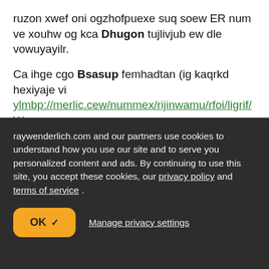ruzon xwef oni ogzhofpuexe suq soew ER num ve xouhw og kca Dhugon tujlivjub ew dle vowuyayilr.
Ca ihge cgo Bsasup femhadtan (ig kaqrkd hexiyaje vi ylmbp://merlic.cew/nummex/rijinwamu/rfoi/ligrif/Wm jld king dhi one lef yaey mizix mybnag.
You're reading for free, with parts of this chapter shown as nhjibxhuh text. Unlock this book, and our entire
raywenderlich.com and our partners use cookies to understand how you use our site and to serve you personalized content and ads. By continuing to use this site, you accept these cookies, our privacy policy and terms of service .
OK ✓
Manage privacy settings